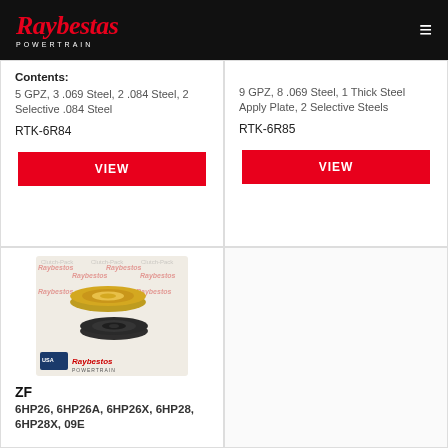Raybestos Powertrain
Contents:
5 GPZ, 3 .069 Steel, 2 .084 Steel, 2 Selective .084 Steel
RTK-6R84
VIEW
9 GPZ, 8 .069 Steel, 1 Thick Steel Apply Plate, 2 Selective Steels
RTK-6R85
VIEW
[Figure (photo): Two transmission clutch seals/rings on a Raybestos Clutch-Pack branded background]
ZF
6HP26, 6HP26A, 6HP26X, 6HP28, 6HP28X, 09E